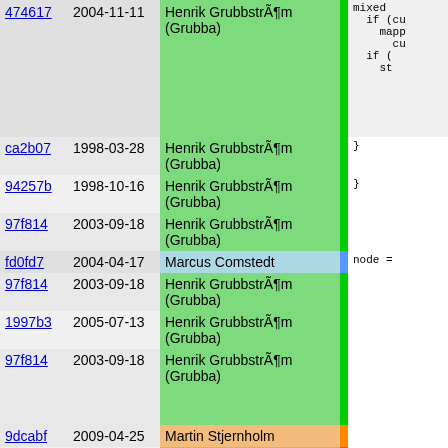| hash | date | author | bar | code |
| --- | --- | --- | --- | --- |
| 474617 | 2004-11-11 | Henrik GrubbstrÃ¶m (Grubba) |  | mixed
  if (cu
    mapp
      cu
  if (
    st |
| ca2b07 | 1998-03-28 | Henrik GrubbstrÃ¶m (Grubba) |  | } |
| 94257b | 1998-10-16 | Henrik GrubbstrÃ¶m (Grubba) |  | } |
| 97f814 | 2003-09-18 | Henrik GrubbstrÃ¶m (Grubba) |  |  |
| fd0fd7 | 2004-04-17 | Marcus Comstedt |  | node = |
| 97f814 | 2003-09-18 | Henrik GrubbstrÃ¶m (Grubba) |  |  |
| 1997b3 | 2005-07-13 | Henrik GrubbstrÃ¶m (Grubba) |  |  |
| 97f814 | 2003-09-18 | Henrik GrubbstrÃ¶m (Grubba) |  |  |
| 9dcabf | 2009-04-25 | Martin Stjernholm |  |  |
| 97f814 | 2003-09-18 | Henrik GrubbstrÃ¶m (Grubba) |  | // FIX
// Klu |
| 1997b3 | 2005-07-13 | Henrik GrubbstrÃ¶m (Grubba) |  | node-> |
| 97f814 | 2003-09-18 | Henrik GrubbstrÃ¶m (Grubba) |  |  |